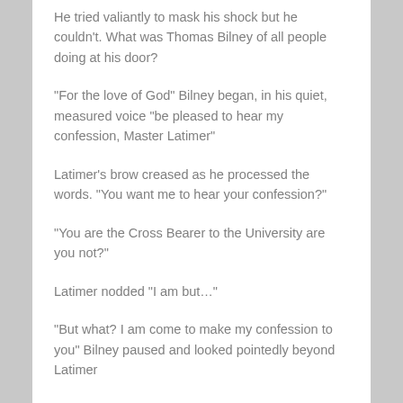He tried valiantly to mask his shock but he couldn't. What was Thomas Bilney of all people doing at his door?
“For the love of God” Bilney began, in his quiet, measured voice “be pleased to hear my confession, Master Latimer”
Latimer’s brow creased as he processed the words. “You want me to hear your confession?”
“You are the Cross Bearer to the University are you not?”
Latimer nodded “I am but…”
“But what? I am come to make my confession to you” Bilney paused and looked pointedly beyond Latimer